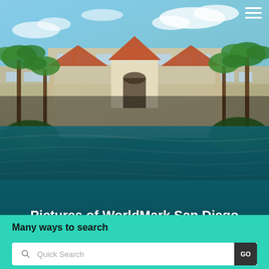[Figure (photo): Hero image of a resort with a pool in the foreground, palm trees on both sides, and a large multi-story building with a peaked roof in the background under a blue sky. The image has a dark overlay in the lower portion.]
Pictures of WorldMark San Diego San Diego, California
Many ways to search
Quick Search